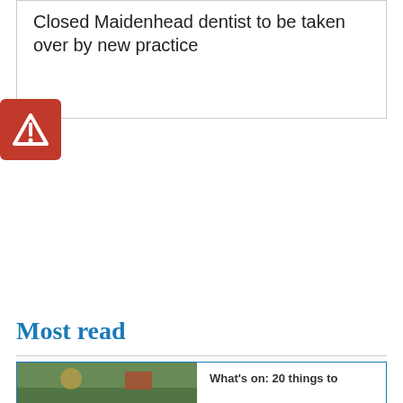Closed Maidenhead dentist to be taken over by new practice
[Figure (logo): Red square logo with white triangle/alert icon (Arden media or similar)]
Most read
[Figure (photo): Partial photo of outdoor scene with people, partially visible at bottom of page]
What's on: 20 things to